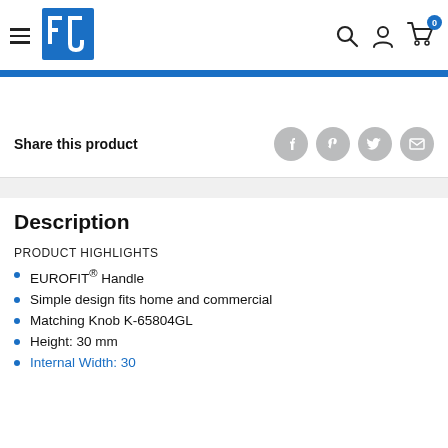[Figure (logo): FJ brand logo — blue square with white F and J letters]
Share this product
Description
PRODUCT HIGHLIGHTS
EUROFIT® Handle
Simple design fits home and commercial
Matching Knob K-65804GL
Height: 30 mm
Internal Width: 30